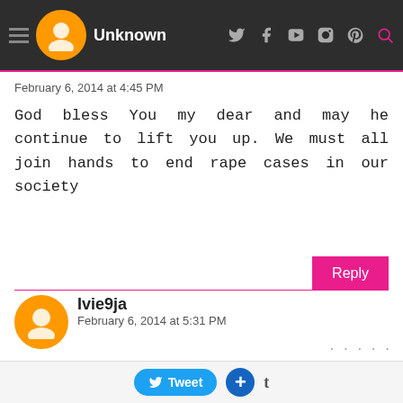Unknown
February 6, 2014 at 4:45 PM
God bless You my dear and may he continue to lift you up. We must all join hands to end rape cases in our society
Ivie9ja
February 6, 2014 at 5:31 PM
Powerful story. Society encourages women to treasure their sexuality yet do nothing to help them protect it. I hail your efforts. God bless you for doing what others hav